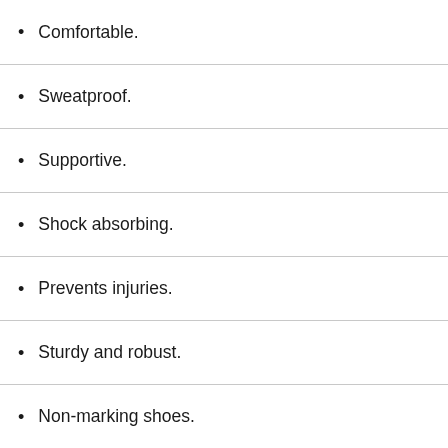Comfortable.
Sweatproof.
Supportive.
Shock absorbing.
Prevents injuries.
Sturdy and robust.
Non-marking shoes.